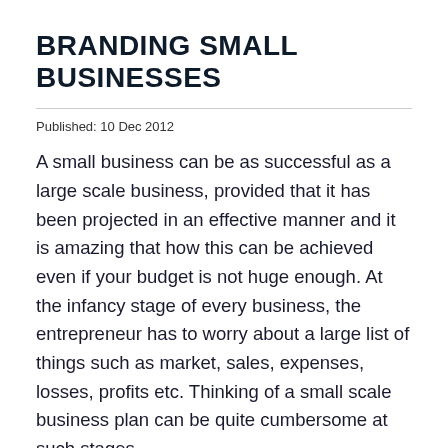BRANDING SMALL BUSINESSES
Published: 10 Dec 2012
A small business can be as successful as a large scale business, provided that it has been projected in an effective manner and it is amazing that how this can be achieved even if your budget is not huge enough. At the infancy stage of every business, the entrepreneur has to worry about a large list of things such as market, sales, expenses, losses, profits etc. Thinking of a small scale business plan can be quite cumbersome at such stages.